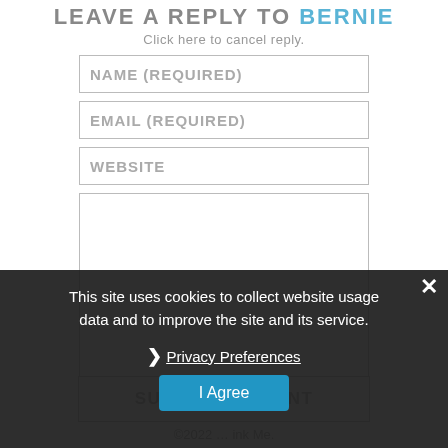LEAVE A REPLY TO BERNIE
Click here to cancel reply.
NAME (REQUIRED)
EMAIL (REQUIRED)
WEBSITE
This site uses cookies to collect website usage data and to improve the site and its service.
Privacy Preferences
I Agree
SUBMIT COMMENT
©2022 … ink Me.